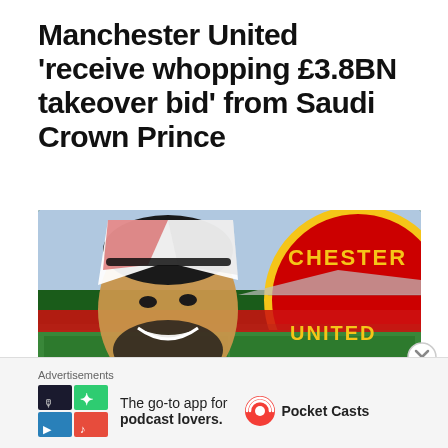Manchester United 'receive whopping £3.8BN takeover bid' from Saudi Crown Prince
[Figure (photo): Composite image showing a smiling man in Saudi traditional dress (thobe and ghutrah) on the left, overlaid with Manchester United's Old Trafford stadium and the red Manchester United club badge on the right.]
Advertisements
[Figure (logo): Pocket Casts advertisement banner with colorful tile logo on the left and text 'The go-to app for podcast lovers.' with Pocket Casts branding on the right.]